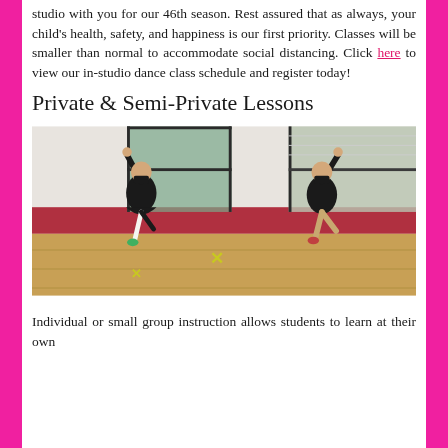studio with you for our 46th season. Rest assured that as always, your child's health, safety, and happiness is our first priority. Classes will be smaller than normal to accommodate social distancing. Click here to view our in-studio dance class schedule and register today!
Private & Semi-Private Lessons
[Figure (photo): Two young children in black outfits and face masks striking dance poses in a dance studio with large windows. They are standing on one leg with arms raised. Yellow X marks are on the floor for social distancing.]
Individual or small group instruction allows students to learn at their own